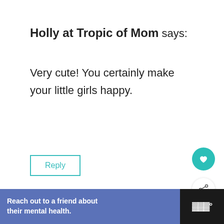Holly at Tropic of Mom says:
Very cute! You certainly make your little girls happy.
Reply
WHAT'S NEXT → Back to School: Free...
Jessica says:
Reach out to a friend about their mental health.